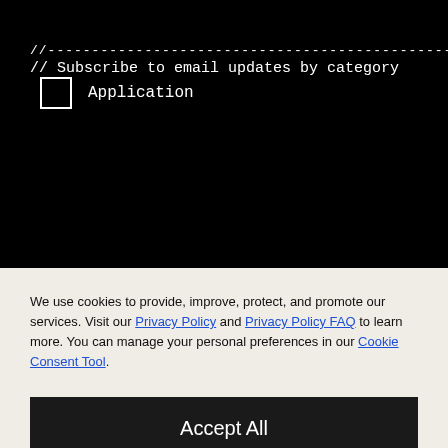//---------------------------------------------------
// Subscribe to email updates by category
Application
We use cookies to provide, improve, protect, and promote our services. Visit our Privacy Policy and Privacy Policy FAQ to learn more. You can manage your personal preferences in our Cookie Consent Tool.
Accept All
Decline